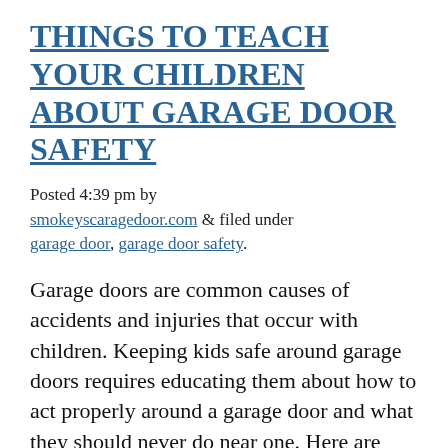THINGS TO TEACH YOUR CHILDREN ABOUT GARAGE DOOR SAFETY
Posted 4:39 pm by smokeyscaragedoor.com & filed under garage door, garage door safety.
Garage doors are common causes of accidents and injuries that occur with children. Keeping kids safe around garage doors requires educating them about how to act properly around a garage door and what they should never do near one. Here are some important things to teach your kids: Don't Open the Garage Door Yourself. Teach... Read more »